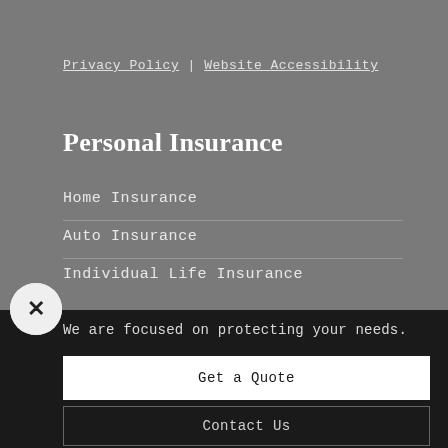Privacy Policy | Website Accessibility
Personal Insurance
Home Insurance
Auto Insurance
Individual Life Insurance
We are focused on protecting your needs.
Get a Quote
Contact Us